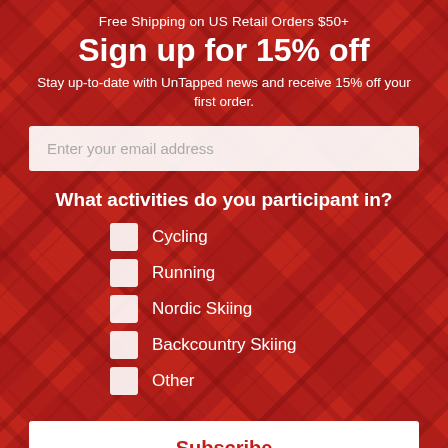Free Shipping on US Retail Orders $50+
Sign up for 15% off
Stay up-to-date with UnTapped news and receive 15% off your first order.
Enter your email address
What activities do you participant in?
Cycling
Running
Nordic Skiing
Backcountry Skiing
Other
Subscribe